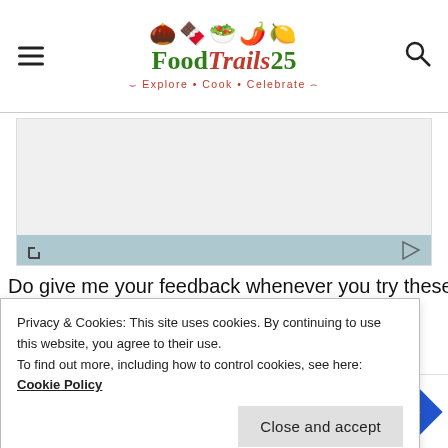[Figure (logo): FoodTrails25 logo with food emoji icons and tagline 'Explore • Cook • Celebrate']
[Figure (other): Advertisement banner area with light gray background and blue-gray bottom bar with resize and play icons]
Do give me your feedback whenever you try these I
Privacy & Cookies: This site uses cookies. By continuing to use this website, you agree to their use.
To find out more, including how to control cookies, see here:
Cookie Policy
Close and accept
[Figure (other): Bottom advertisement banner with restaurant icon, checkmarks for Dine-in and Curbside pickup, and navigation arrow]